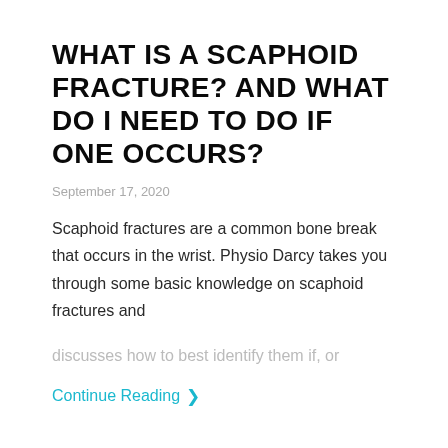WHAT IS A SCAPHOID FRACTURE? AND WHAT DO I NEED TO DO IF ONE OCCURS?
September 17, 2020
Scaphoid fractures are a common bone break that occurs in the wrist. Physio Darcy takes you through some basic knowledge on scaphoid fractures and discusses how to best identify them if, or
Continue Reading ›